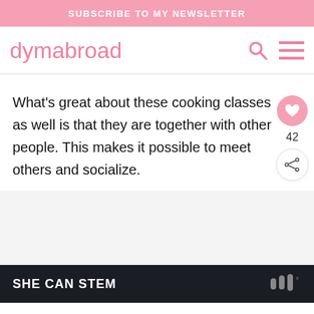SUBSCRIBE TO MY NEWSLETTER
dymabroad
What's great about these cooking classes as well is that they are together with other people. This makes it possible to meet others and socialize.
SHE CAN STEM